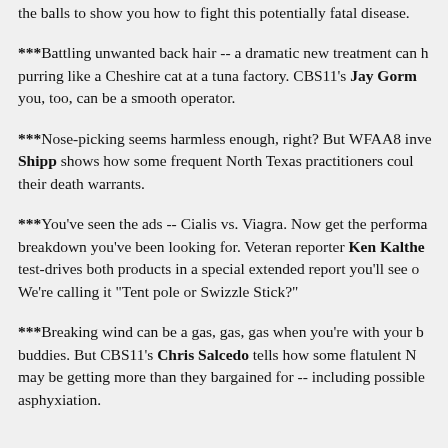the balls to show you how to fight this potentially fatal disease.
***Battling unwanted back hair -- a dramatic new treatment can have you purring like a Cheshire cat at a tuna factory. CBS11's Jay Gorm shows how you, too, can be a smooth operator.
***Nose-picking seems harmless enough, right? But WFAA8 inve Shipp shows how some frequent North Texas practitioners could their death warrants.
***You've seen the ads -- Cialis vs. Viagra. Now get the performa breakdown you've been looking for. Veteran reporter Ken Kalthe test-drives both products in a special extended report you'll see o We're calling it "Tent pole or Swizzle Stick?"
***Breaking wind can be a gas, gas, gas when you're with your b buddies. But CBS11's Chris Salcedo tells how some flatulent N may be getting more than they bargained for -- including possible asphyxiation.